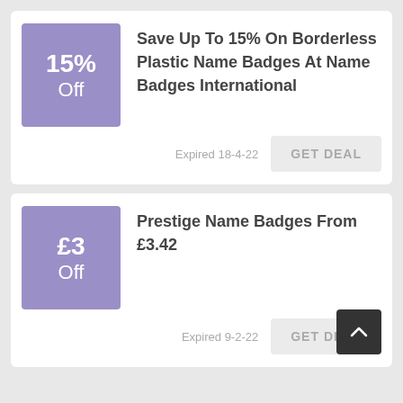15% Off
Save Up To 15% On Borderless Plastic Name Badges At Name Badges International
Expired 18-4-22
GET DEAL
£3 Off
Prestige Name Badges From £3.42
Expired 9-2-22
GET DEAL